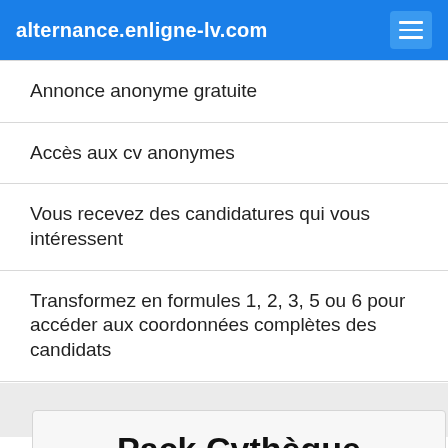alternance.enligne-lv.com
Annonce anonyme gratuite
Accès aux cv anonymes
Vous recevez des candidatures qui vous intéressent
Transformez en formules 1, 2, 3, 5 ou 6 pour accéder aux coordonnées complètes des candidats
tester
Pack Cvthèque Formule 5